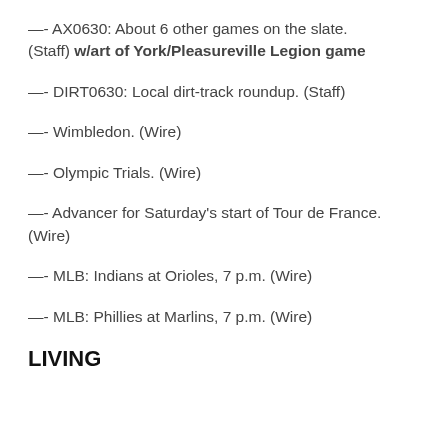—- AX0630: About 6 other games on the slate. (Staff) w/art of York/Pleasureville Legion game
—- DIRT0630: Local dirt-track roundup. (Staff)
—- Wimbledon. (Wire)
—- Olympic Trials. (Wire)
—- Advancer for Saturday's start of Tour de France. (Wire)
—- MLB: Indians at Orioles, 7 p.m. (Wire)
—- MLB: Phillies at Marlins, 7 p.m. (Wire)
LIVING